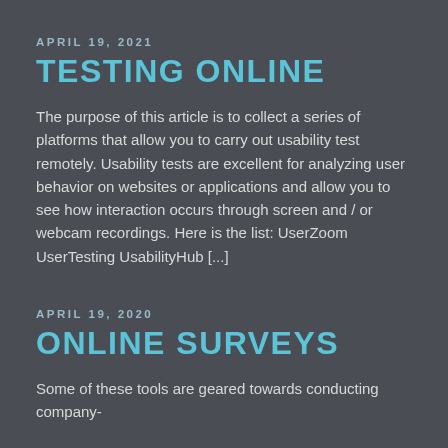APRIL 19, 2021
TESTING ONLINE
The purpose of this article is to collect a series of platforms that allow you to carry out usability test remotely. Usability tests are excellent for analyzing user behavior on websites or applications and allow you to see how interaction occurs through screen and / or webcam recordings. Here is the list: UserZoom UserTesting UsabilityHub [...]
APRIL 19, 2020
ONLINE SURVEYS
Some of these tools are geared towards conducting company-